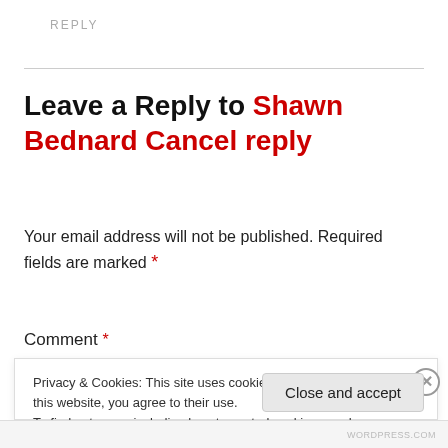REPLY
Leave a Reply to Shawn Bednard Cancel reply
Your email address will not be published. Required fields are marked *
Comment *
Privacy & Cookies: This site uses cookies. By continuing to use this website, you agree to their use. To find out more, including how to control cookies, see here: Cookie Policy
Close and accept